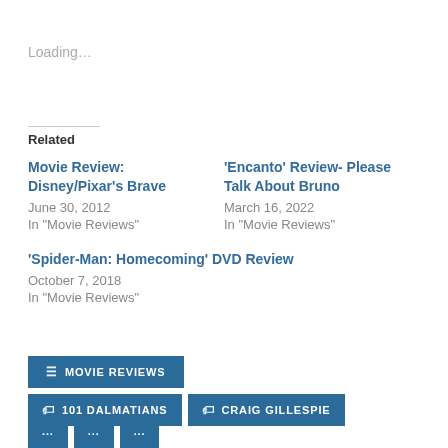Loading...
Related
Movie Review: Disney/Pixar's Brave
June 30, 2012
In "Movie Reviews"
'Encanto' Review- Please Talk About Bruno
March 16, 2022
In "Movie Reviews"
'Spider-Man: Homecoming' DVD Review
October 7, 2018
In "Movie Reviews"
MOVIE REVIEWS
101 DALMATIANS
CRAIG GILLESPIE